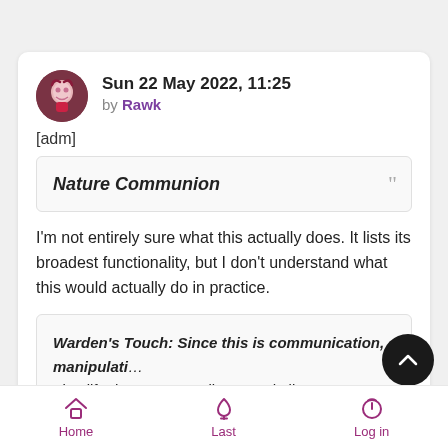Sun 22 May 2022, 11:25 by Rawk
[adm]
Nature Communion
I'm not entirely sure what this actually does. It lists its broadest functionality, but I don't understand what this would actually do in practice.
Warden's Touch: Since this is communication, manipulati... plantlife does not actually expend Librea's energy, though...
Home  Last  Log in